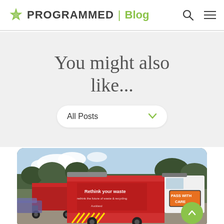PROGRAMMED | Blog
You might also like...
All Posts
[Figure (photo): Red Auckland Council waste trucks with 'Rethink your waste' branding and 'PASS WITH CARE' orange road sign, parked outdoors with trees in background.]